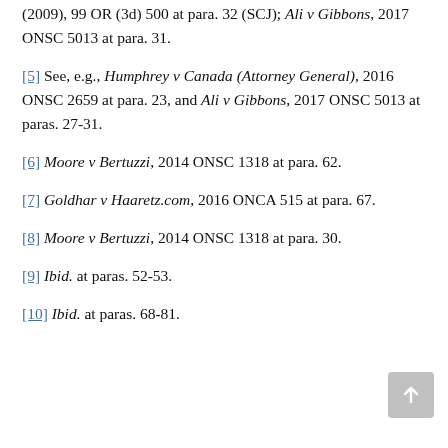(2009), 99 OR (3d) 500 at para. 32 (SCJ); Ali v Gibbons, 2017 ONSC 5013 at para. 31.
[5] See, e.g., Humphrey v Canada (Attorney General), 2016 ONSC 2659 at para. 23, and Ali v Gibbons, 2017 ONSC 5013 at paras. 27-31.
[6] Moore v Bertuzzi, 2014 ONSC 1318 at para. 62.
[7] Goldhar v Haaretz.com, 2016 ONCA 515 at para. 67.
[8] Moore v Bertuzzi, 2014 ONSC 1318 at para. 30.
[9] Ibid. at paras. 52-53.
[10] Ibid. at paras. 68-81.